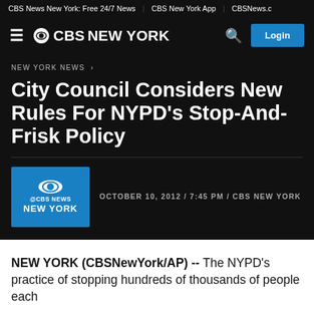CBS News New York: Free 24/7 News | CBS New York App | CBSNews.c
CBS NEW YORK
NEW YORK NEWS >
City Council Considers New Rules For NYPD's Stop-And-Frisk Policy
OCTOBER 10, 2012 / 7:45 PM / CBS NEW YORK
NEW YORK (CBSNewYork/AP) -- The NYPD's practice of stopping hundreds of thousands of people each